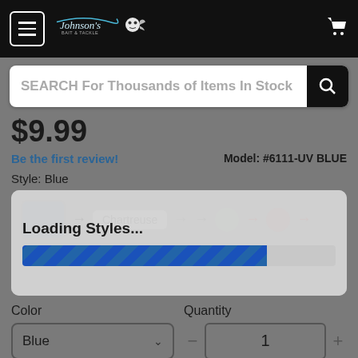[Figure (screenshot): Johnson's Bait & Tackle website navigation bar with hamburger menu, logo, and cart icon on black background]
SEARCH For Thousands of Items In Stock
$9.99
Be the first review!
Model: #6111-UV BLUE
Style: Blue
[Figure (screenshot): Style picker showing Loading Styles... with progress bar, Chartreuse label visible, Watermelon label below]
Color
Quantity
Blue
1
Stock: 5+